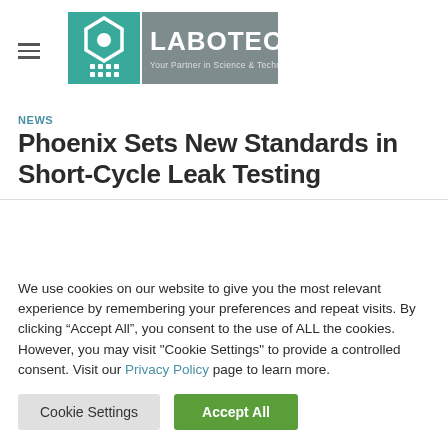[Figure (logo): Labotec logo — teal square icon with hexagon and grid pattern beside grey rectangle with LABOTEC text and tagline 'Your Partner in Science & Technology']
NEWS
Phoenix Sets New Standards in Short-Cycle Leak Testing
We use cookies on our website to give you the most relevant experience by remembering your preferences and repeat visits. By clicking “Accept All”, you consent to the use of ALL the cookies. However, you may visit "Cookie Settings" to provide a controlled consent. Visit our Privacy Policy page to learn more.